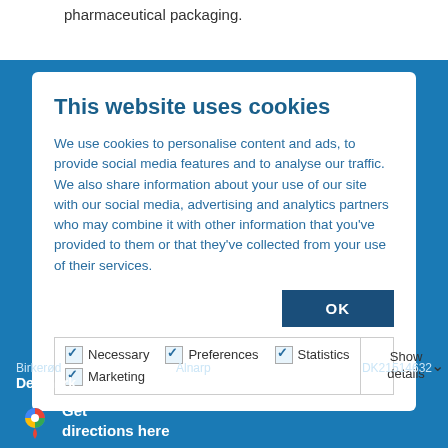pharmaceutical packaging.
This website uses cookies
We use cookies to personalise content and ads, to provide social media features and to analyse our traffic. We also share information about your use of our site with our social media, advertising and analytics partners who may combine it with other information that you've provided to them or that they've collected from your use of their services.
OK
☑ Necessary  ☑ Preferences  ☑ Statistics  ☑ Marketing  Show details ˅
Birkerød
Denmark
Alnarp
Sweden
DK21514632
Get directions here